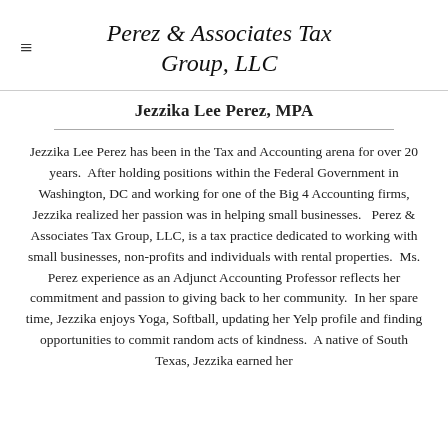Perez & Associates Tax Group, LLC
Jezzika Lee Perez, MPA
Jezzika Lee Perez has been in the Tax and Accounting arena for over 20 years.  After holding positions within the Federal Government in Washington, DC and working for one of the Big 4 Accounting firms, Jezzika realized her passion was in helping small businesses.   Perez & Associates Tax Group, LLC, is a tax practice dedicated to working with small businesses, non-profits and individuals with rental properties.  Ms. Perez experience as an Adjunct Accounting Professor reflects her commitment and passion to giving back to her community.  In her spare time, Jezzika enjoys Yoga, Softball, updating her Yelp profile and finding opportunities to commit random acts of kindness.  A native of South Texas, Jezzika earned her